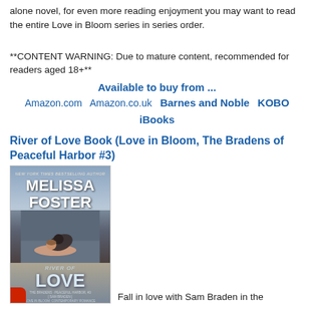alone novel, for even more reading enjoyment you may want to read the entire Love in Bloom series in series order.
**CONTENT WARNING: Due to mature content, recommended for readers aged 18+**
Available to buy from ...
Amazon.com   Amazon.co.uk   Barnes and Noble   KOBO
iBooks
River of Love Book (Love in Bloom, The Bradens of Peaceful Harbor #3)
[Figure (photo): Book cover for River of Love by Melissa Foster, showing a couple embracing outdoors near water, with the author name and title displayed.]
Fall in love with Sam Braden in the